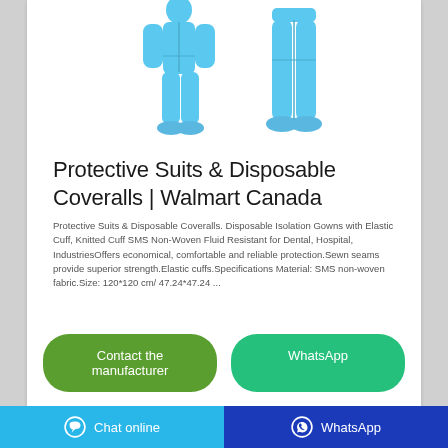[Figure (photo): Two blue disposable protective coverall suits shown from front and back views]
Protective Suits & Disposable Coveralls | Walmart Canada
Protective Suits & Disposable Coveralls. Disposable Isolation Gowns with Elastic Cuff, Knitted Cuff SMS Non-Woven Fluid Resistant for Dental, Hospital, IndustriesOffers economical, comfortable and reliable protection.Sewn seams provide superior strength.Elastic cuffs.Specifications Material: SMS non-woven fabric.Size: 120*120 cm/ 47.24*47.24 ...
Contact the manufacturer
WhatsApp
Chat online   WhatsApp